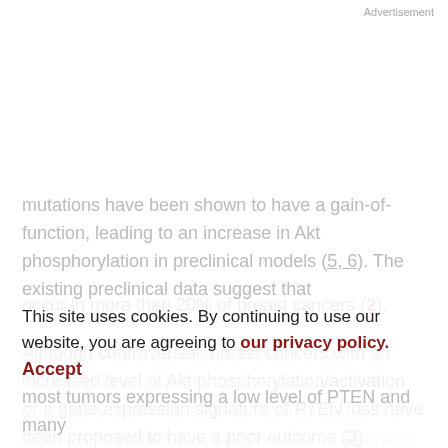Advertisement
occur in more than 20% of breast cancers (2).
Although controversial, breast cancers with an increased level of Akt phosphorylation/activation or a gene expression signature of PTEN loss have been proposed to have a poor outcome (3). Although PIK3CA mutations have not been uniformly associated with activation of Akt signaling in patient tumors (2, 4), several PIK3CA
mutations have been shown to have a gain-of-function, leading to an increase in Akt phosphorylation in preclinical models (5, 6). The existing preclinical data suggest that most tumors expressing a low level of PTEN and many
This site uses cookies. By continuing to use our website, you are agreeing to our privacy policy. Accept